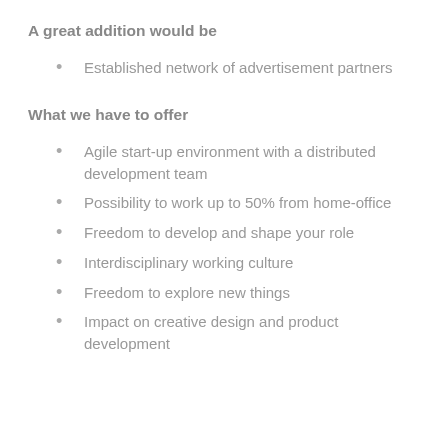A great addition would be
Established network of advertisement partners
What we have to offer
Agile start-up environment with a distributed development team
Possibility to work up to 50% from home-office
Freedom to develop and shape your role
Interdisciplinary working culture
Freedom to explore new things
Impact on creative design and product development